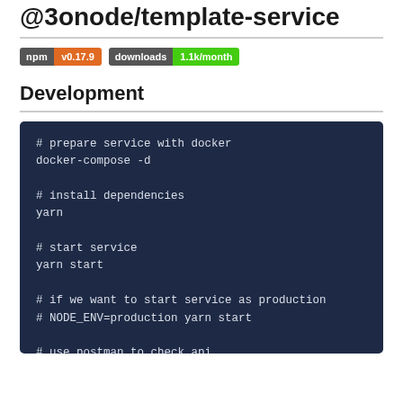@3onode/template-service
[Figure (infographic): npm badge showing v0.17.9 and downloads badge showing 1.1k/month]
Development
# prepare service with docker
docker-compose -d

# install dependencies
yarn

# start service
yarn start

# if we want to start service as production
# NODE_ENV=production yarn start

# use postman to check api
yarn test:int